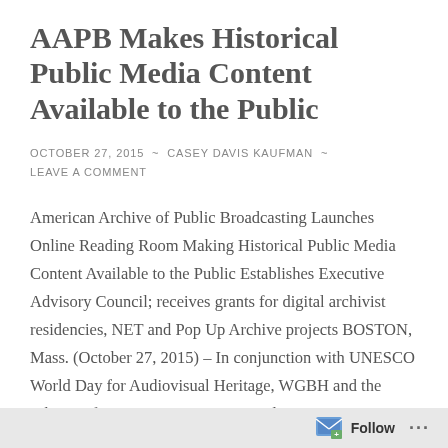AAPB Makes Historical Public Media Content Available to the Public
OCTOBER 27, 2015  ~  CASEY DAVIS KAUFMAN  ~  LEAVE A COMMENT
American Archive of Public Broadcasting Launches Online Reading Room Making Historical Public Media Content Available to the Public Establishes Executive Advisory Council; receives grants for digital archivist residencies, NET and Pop Up Archive projects BOSTON, Mass. (October 27, 2015) – In conjunction with UNESCO World Day for Audiovisual Heritage, WGBH and the Library of Congress… Continue reading
Follow